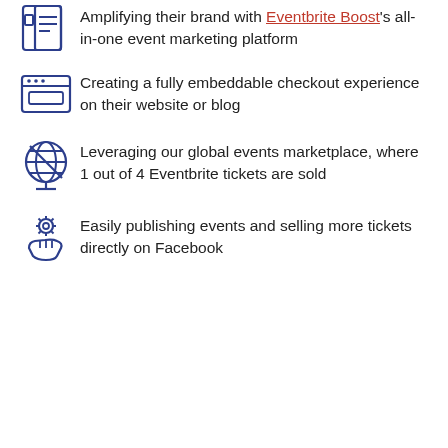Amplifying their brand with Eventbrite Boost's all-in-one event marketing platform
Creating a fully embeddable checkout experience on their website or blog
Leveraging our global events marketplace, where 1 out of 4 Eventbrite tickets are sold
Easily publishing events and selling more tickets directly on Facebook